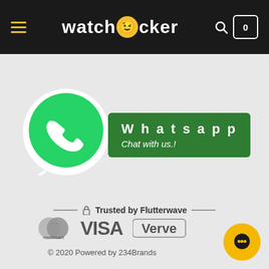watchlocker — navigation header with hamburger menu, logo, search and cart icons
[Figure (logo): WhatsApp logo (green circle with white phone icon) next to a green button saying 'Whatsapp – Chat with us.!']
Trusted by Flutterwave
[Figure (logo): Payment logos: Mastercard, VISA, Verve]
© 2020 Powered by 234Brands